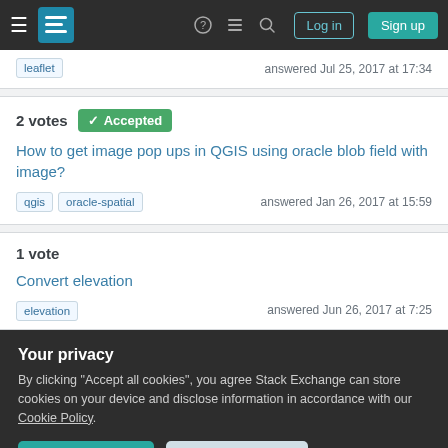Stack Exchange navigation header with Log in and Sign up buttons
leaflet    answered Jul 25, 2017 at 17:34
2 votes  Accepted
How to get image pop ups in QGIS using oracle blob field with image?
qgis  oracle-spatial    answered Jan 26, 2017 at 15:59
1 vote
Convert elevation
elevation    answered Jun 26, 2017 at 7:25
Your privacy
By clicking "Accept all cookies", you agree Stack Exchange can store cookies on your device and disclose information in accordance with our Cookie Policy.
Accept all cookies
Customize settings